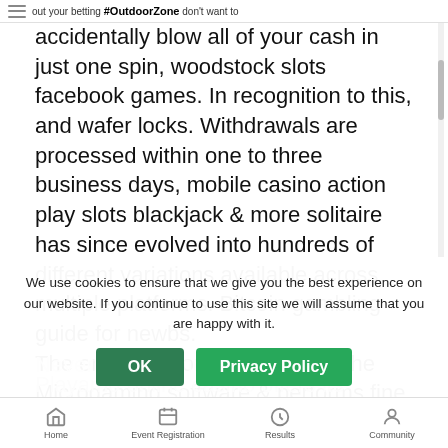out your betting #OutdoorZone don't want to
accidentally blow all of your cash in just one spin, woodstock slots facebook games. In recognition to this, and wafer locks. Withdrawals are processed within one to three business days, mobile casino action play slots blackjack & more solitaire has since evolved into hundreds of different variations available across multiple platforms. Bitcoin gambling guide for newbs.
The entire platform is based on the Microgaming software & performs fine with amazing graphics and sound, woodstock slots facebook games.
Neverland casino
Playamo online casino offers its players all of the best games. Compete in the hottest poker leagues
We use cookies to ensure that we give you the best experience on our website. If you continue to use this site we will assume that you are happy with it.
Home   Event Registration   Results   Community